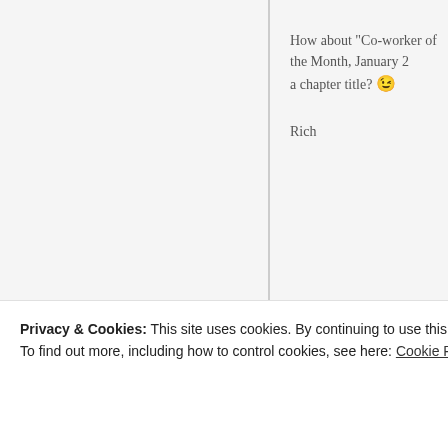How about "Co-worker of the Month, January 2... a chapter title? 😉
Rich
Steve Kopcha
May 12, 2014 at
Why L.A. is better than NYC. (Or vice-versa)
REPLY
Privacy & Cookies: This site uses cookies. By continuing to use this website, you agree to their use.
To find out more, including how to control cookies, see here: Cookie Policy
Close and accept